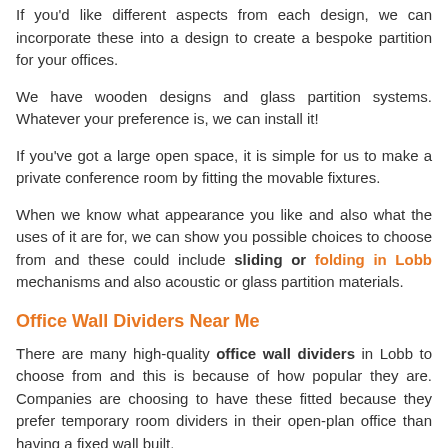If you'd like different aspects from each design, we can incorporate these into a design to create a bespoke partition for your offices.
We have wooden designs and glass partition systems. Whatever your preference is, we can install it!
If you've got a large open space, it is simple for us to make a private conference room by fitting the movable fixtures.
When we know what appearance you like and also what the uses of it are for, we can show you possible choices to choose from and these could include sliding or folding in Lobb mechanisms and also acoustic or glass partition materials.
Office Wall Dividers Near Me
There are many high-quality office wall dividers in Lobb to choose from and this is because of how popular they are. Companies are choosing to have these fitted because they prefer temporary room dividers in their open-plan office than having a fixed wall built.
This gives them the option to have a sectioned area or to have an